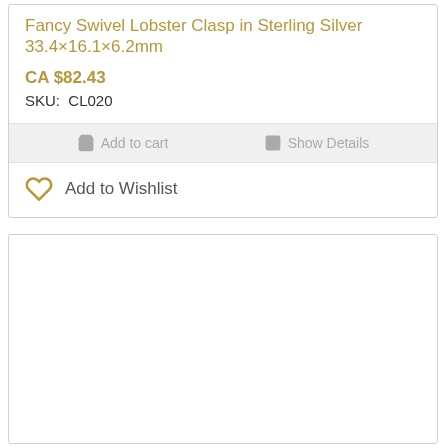Fancy Swivel Lobster Clasp in Sterling Silver 33.4×16.1×6.2mm
CA $82.43
SKU:  CL020
Add to cart
Show Details
Add to Wishlist
[Figure (other): Empty white box / second product card area]